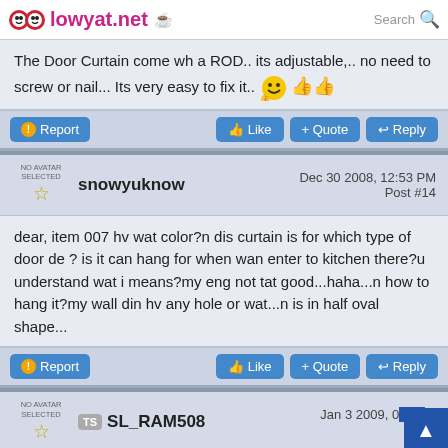lowyat.net
The Door Curtain come wh a ROD.. its adjustable,.. no need to screw or nail... Its very easy to fix it.. 😊
Report | Like | Quote | Reply
snowyuknow — Dec 30 2008, 12:53 PM — Post #14
dear, item 007 hv wat color?n dis curtain is for which type of door de ? is it can hang for when wan enter to kitchen there?u understand wat i means?my eng not tat good...haha...n how to hang it?my wall din hv any hole or wat...n is in half oval shape...
Report | Like | Quote | Reply
SL_RAM508 — Jan 3 2009, 0[...] Post #15